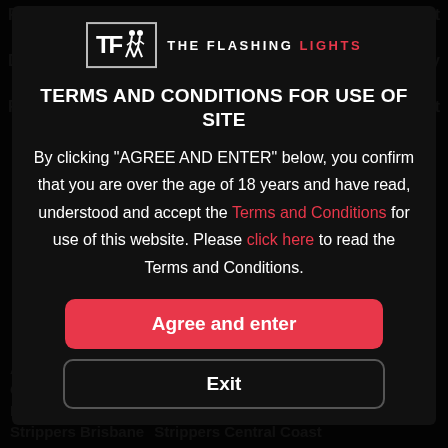[Figure (logo): The Flashing Lights logo with TFL letters in a box and two silhouette figures, followed by 'THE FLASHING LIGHTS' text]
TERMS AND CONDITIONS FOR USE OF SITE
By clicking “AGREE AND ENTER” below, you confirm that you are over the age of 18 years and have read, understood and accept the Terms and Conditions for use of this website. Please click here to read the Terms and Conditions.
Agree and enter
Exit